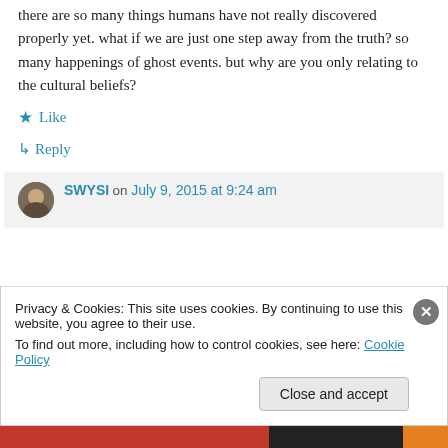there are so many things humans have not really discovered properly yet. what if we are just one step away from the truth? so many happenings of ghost events. but why are you only relating to the cultural beliefs?
Like
Reply
SWYSI on July 9, 2015 at 9:24 am
Privacy & Cookies: This site uses cookies. By continuing to use this website, you agree to their use. To find out more, including how to control cookies, see here: Cookie Policy
Close and accept